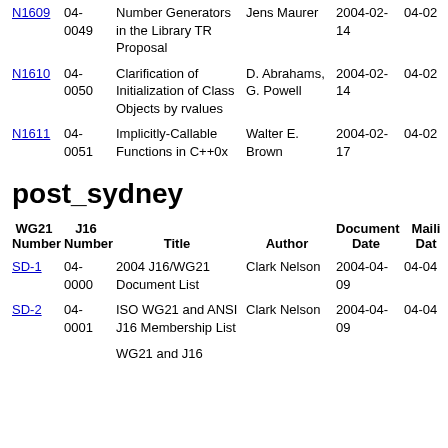| WG21 Number | J16 Number | Title | Author | Document Date | Mailing Date |
| --- | --- | --- | --- | --- | --- |
| N1609 | 04-0049 | Number Generators in the Library TR Proposal | Jens Maurer | 2004-02-14 | 04-02 |
| N1610 | 04-0050 | Clarification of Initialization of Class Objects by rvalues | D. Abrahams, G. Powell | 2004-02-14 | 04-02 |
| N1611 | 04-0051 | Implicitly-Callable Functions in C++0x | Walter E. Brown | 2004-02-17 | 04-02 |
post_sydney
| WG21 Number | J16 Number | Title | Author | Document Date | Mailing Date |
| --- | --- | --- | --- | --- | --- |
| SD-1 | 04-0000 | 2004 J16/WG21 Document List | Clark Nelson | 2004-04-09 | 04-04 |
| SD-2 | 04-0001 | ISO WG21 and ANSI J16 Membership List | Clark Nelson | 2004-04-09 | 04-04 |
|  |  | WG21 and J16 |  |  |  |